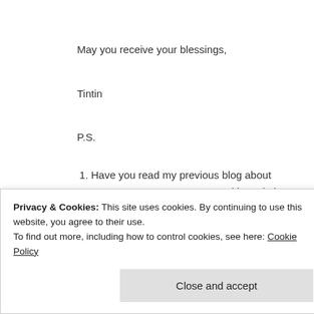May you receive your blessings,
Tintin
P.S.
Have you read my previous blog about Mama's Cancer? you can read it again here: The Woman I Love Most Have Cancer , I Miss The Normal She
Love reading my blogs? I hope you can find time reading my other writings too on A Cup of ...
Privacy & Cookies: This site uses cookies. By continuing to use this website, you agree to their use. To find out more, including how to control cookies, see here: Cookie Policy
Close and accept